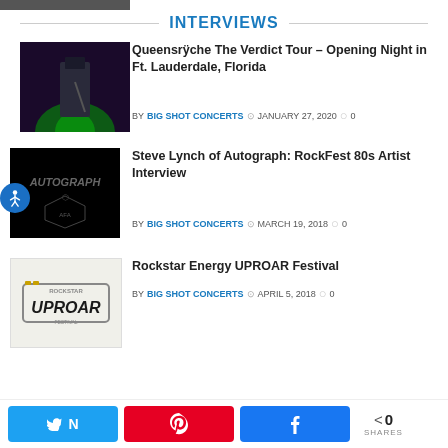[Figure (photo): Partial top strip of a photo (cropped at top of page)]
INTERVIEWS
[Figure (photo): Concert photo with green stage lighting, guitarist performing]
Queensrÿche The Verdict Tour – Opening Night in Ft. Lauderdale, Florida
BY BIG SHOT CONCERTS  JANUARY 27, 2020  0
[Figure (logo): Autograph band logo on black background]
Steve Lynch of Autograph: RockFest 80s Artist Interview
BY BIG SHOT CONCERTS  MARCH 19, 2018  0
[Figure (logo): Rockstar Energy UPROAR Festival logo]
Rockstar Energy UPROAR Festival
BY BIG SHOT CONCERTS  APRIL 5, 2018  0
0 SHARES